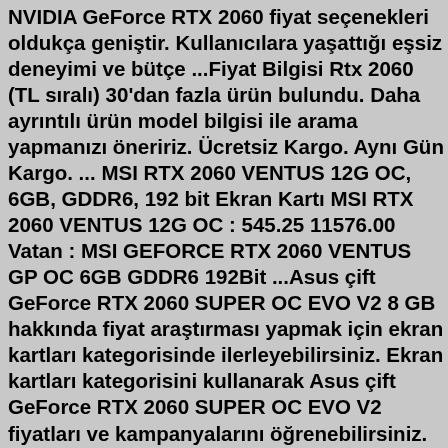NVIDIA GeForce RTX 2060 fiyat seçenekleri oldukça geniştir. Kullanıcılara yaşattığı eşsiz deneyimi ve bütçe ...Fiyat Bilgisi Rtx 2060 (TL sıralı) 30'dan fazla ürün bulundu. Daha ayrıntılı ürün model bilgisi ile arama yapmanızı öneririz. Ücretsiz Kargo. Aynı Gün Kargo. ... MSI RTX 2060 VENTUS 12G OC, 6GB, GDDR6, 192 bit Ekran Kartı MSI RTX 2060 VENTUS 12G OC : 545.25 11576.00 Vatan : MSI GEFORCE RTX 2060 VENTUS GP OC 6GB GDDR6 192Bit ...Asus çift GeForce RTX 2060 SUPER OC EVO V2 8 GB hakkında fiyat araştırması yapmak için ekran kartları kategorisinde ilerleyebilirsiniz. Ekran kartları kategorisini kullanarak Asus çift GeForce RTX 2060 SUPER OC EVO V2 fiyatları ve kampanyalarını öğrenebilirsiniz. Filtreleme seçeneklerini kullanarak incelemeleri marka özelinde ... Selam millet bugün sizlerle birlikte Sinerji HE-1 hazır sistem incelemesi yapıyoruz. Sistemimizde bulunan parçalar ise şöyle; Asus GeGorce RTX 2060 Dual ekra...Sıfır / ikinci el ürünler, uygun fiyatları ile alışverişte ilk adres sahibinden.com'da sahibinden